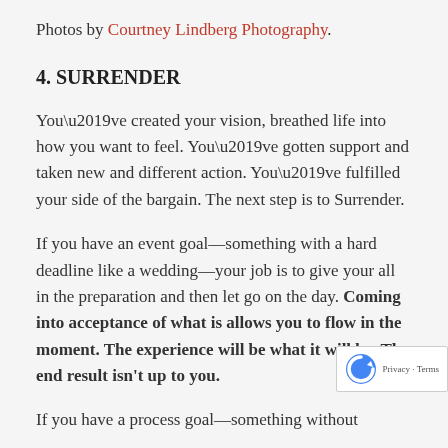Photos by Courtney Lindberg Photography.
4. SURRENDER
You’ve created your vision, breathed life into how you want to feel. You’ve gotten support and taken new and different action. You’ve fulfilled your side of the bargain. The next step is to Surrender.
If you have an event goal—something with a hard deadline like a wedding—your job is to give your all in the preparation and then let go on the day. Coming into acceptance of what is allows you to flow in the moment. The experience will be what it will be. The end result isn’t up to you.
If you have a process goal—something without